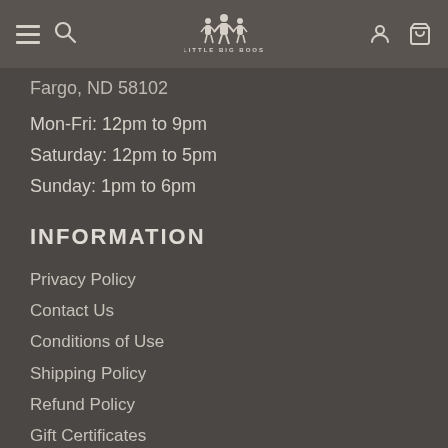Little Big Boos — navigation header with hamburger menu, search, logo, account and cart icons
Fargo, ND 58102
Mon-Fri: 12pm to 9pm
Saturday: 12pm to 5pm
Sunday: 1pm to 6pm
INFORMATION
Privacy Policy
Contact Us
Conditions of Use
Shipping Policy
Refund Policy
Gift Certificates
Discount Coupons
Terms of Service
Refund policy